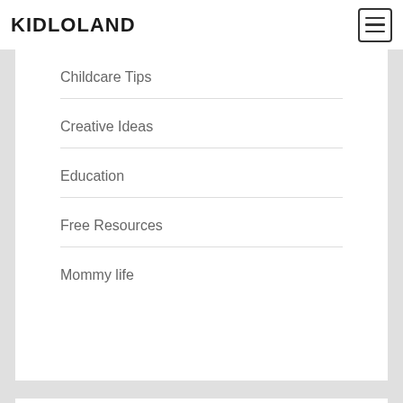KIDLOLAND
Childcare Tips
Creative Ideas
Education
Free Resources
Mommy life
Follow me on Pinterest